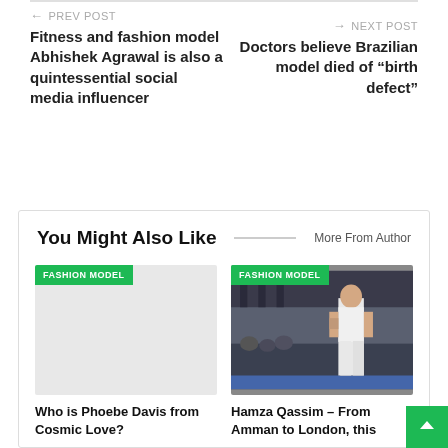← PREV POST
Fitness and fashion model Abhishek Agrawal is also a quintessential social media influencer
NEXT POST →
Doctors believe Brazilian model died of "birth defect"
You Might Also Like
More From Author
[Figure (screenshot): Article card with green FASHION MODEL badge and gray placeholder image]
Who is Phoebe Davis from Cosmic Love?
[Figure (photo): Article card with green FASHION MODEL badge and photo of a male model in white outfit on runway]
Hamza Qassim – From Amman to London, this